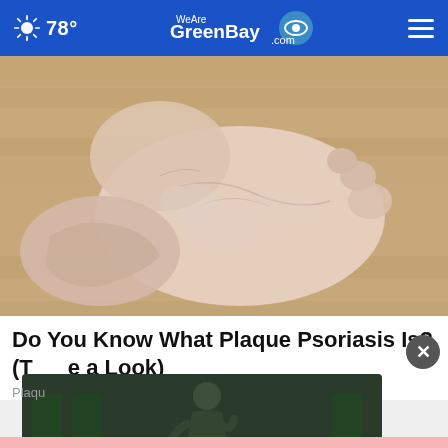78° WeAreGreenBay.com
[Figure (photo): Close-up photograph of an elderly person's foot and ankle showing dry, scaly skin consistent with psoriasis, held in hand against wooden floor background]
Do You Know What Plaque Psoriasis Is? (Take a Look)
Plaque
[Figure (photo): Video overlay thumbnail showing a person sitting in a chair in a darkened setting]